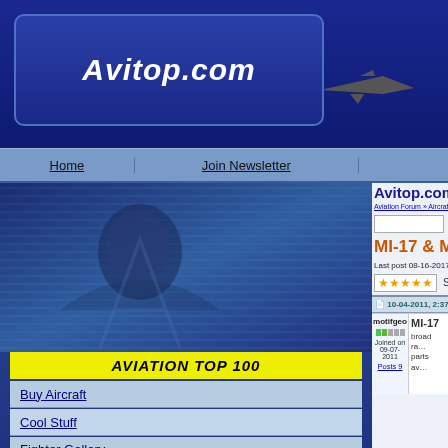Avitop.com
Home | Join Newsletter
Avitop.com Forums
Aviation Forum » Aircraftbargains.com Forum » Engine...
MI-17 & MI-8 HELICOPT...
Last post 08-16-2017, 1:40 AM by Pavel. 8 replie...
AVIATION TOP 100
Buy Aircraft
Cool Stuff
Fighter Gallery
Interactive F16
Aviation Forum
Aviation Top 1000
N-Number Search
Aviation Links
10-04-2011, 2:37 PM
motifgeo
Joined on 09-07-2011
Posts 9
MI-17
broad ra... parts av...